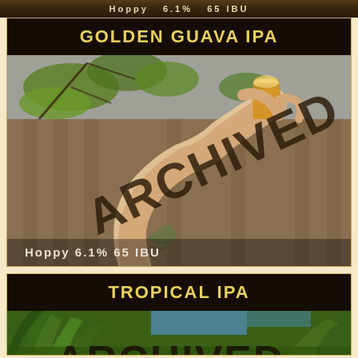Hoppy   6.1%   65 IBU
GOLDEN GUAVA IPA
[Figure (photo): Person holding a glass of golden beer outdoors with greenery in background, overlaid with ARCHIVED diagonal stamp text]
Hoppy   6.1%   65 IBU
TROPICAL IPA
[Figure (photo): Outdoor scene with tropical plants and partial ARCHIVED stamp visible]